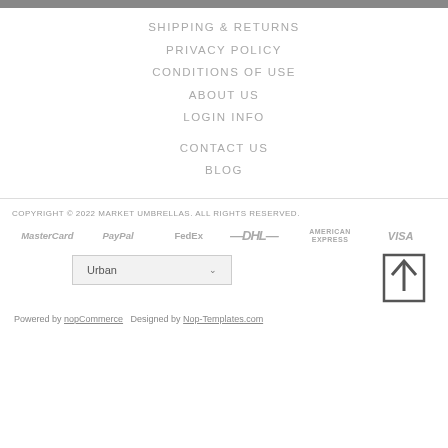SHIPPING & RETURNS
PRIVACY POLICY
CONDITIONS OF USE
ABOUT US
LOGIN INFO
CONTACT US
BLOG
COPYRIGHT © 2022 MARKET UMBRELLAS. ALL RIGHTS RESERVED.
[Figure (logo): Payment method logos: MasterCard, PayPal, FedEx, DHL, American Express, VISA]
[Figure (other): Theme selector dropdown showing 'Urban' with a chevron, and a scroll-to-top button icon]
Powered by nopCommerce  Designed by Nop-Templates.com